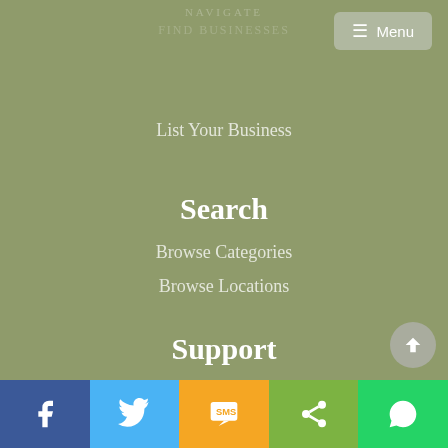List Your Business
Search
Browse Categories
Browse Locations
Support
Password Retrieval
Contact Us